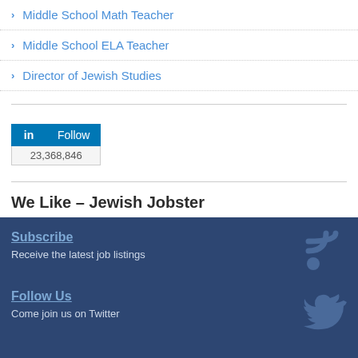Middle School Math Teacher
Middle School ELA Teacher
Director of Jewish Studies
[Figure (other): LinkedIn Follow button widget showing 23,368,846 followers]
We Like – Jewish Jobster
Subscribe
Receive the latest job listings
Follow Us
Come join us on Twitter